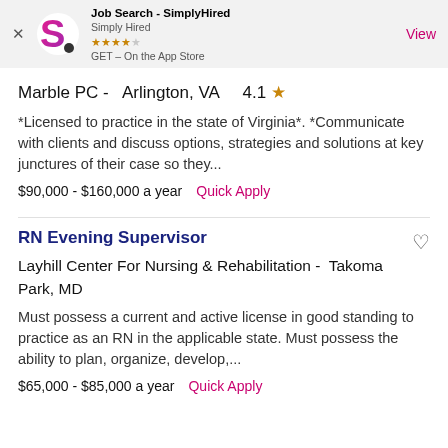[Figure (screenshot): App Store banner for Job Search - SimplyHired app showing logo, star rating (4 stars), and a View button]
Marble PC -   Arlington, VA     4.1 ★
*Licensed to practice in the state of Virginia*. *Communicate with clients and discuss options, strategies and solutions at key junctures of their case so they...
$90,000 - $160,000 a year   Quick Apply
RN Evening Supervisor
Layhill Center For Nursing & Rehabilitation -   Takoma Park, MD
Must possess a current and active license in good standing to practice as an RN in the applicable state. Must possess the ability to plan, organize, develop,...
$65,000 - $85,000 a year   Quick Apply